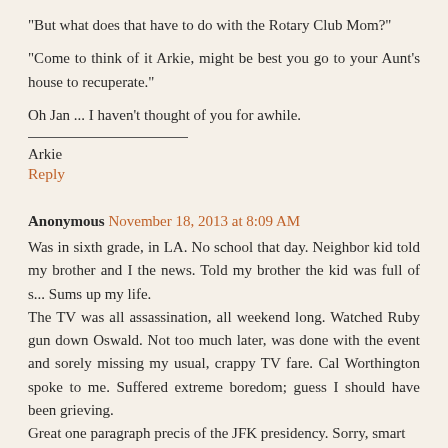"But what does that have to do with the Rotary Club Mom?"
"Come to think of it Arkie, might be best you go to your Aunt's house to recuperate."
Oh Jan ... I haven't thought of you for awhile.
Arkie
Reply
Anonymous November 18, 2013 at 8:09 AM
Was in sixth grade, in LA. No school that day. Neighbor kid told my brother and I the news. Told my brother the kid was full of s... Sums up my life.
The TV was all assassination, all weekend long. Watched Ruby gun down Oswald. Not too much later, was done with the event and sorely missing my usual, crappy TV fare. Cal Worthington spoke to me. Suffered extreme boredom; guess I should have been grieving.
Great one paragraph precis of the JFK presidency. Sorry, smart